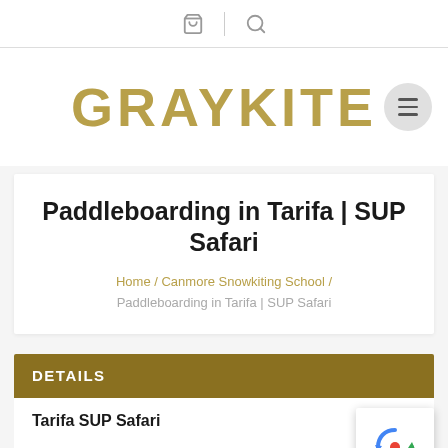GRAYKITE
Paddleboarding in Tarifa | SUP Safari
Home / Canmore Snowkiting School / Paddleboarding in Tarifa | SUP Safari
DETAILS
Tarifa SUP Safari